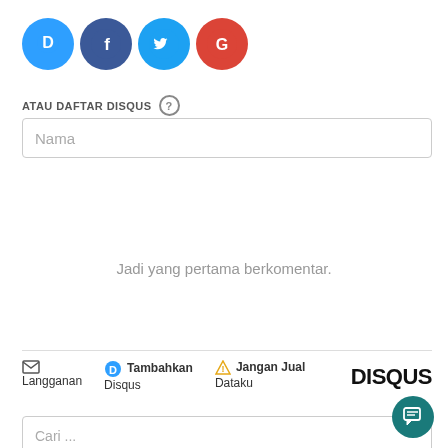[Figure (illustration): Four social login icon circles: Disqus (blue, D), Facebook (dark blue, f), Twitter (light blue, bird), Google (red, G)]
ATAU DAFTAR DISQUS ?
Nama
Jadi yang pertama berkomentar.
Langganan | Tambahkan Disqus | Jangan Jual Dataku | DISQUS
Cari ...